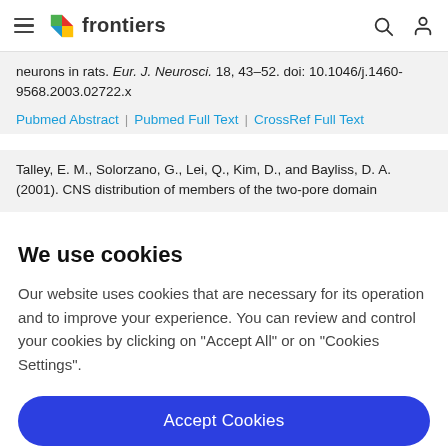frontiers
neurons in rats. Eur. J. Neurosci. 18, 43–52. doi: 10.1046/j.1460-9568.2003.02722.x
Pubmed Abstract | Pubmed Full Text | CrossRef Full Text
Talley, E. M., Solorzano, G., Lei, Q., Kim, D., and Bayliss, D. A. (2001). CNS distribution of members of the two-pore domain
We use cookies
Our website uses cookies that are necessary for its operation and to improve your experience. You can review and control your cookies by clicking on "Accept All" or on "Cookies Settings".
Accept Cookies
Cookies Settings